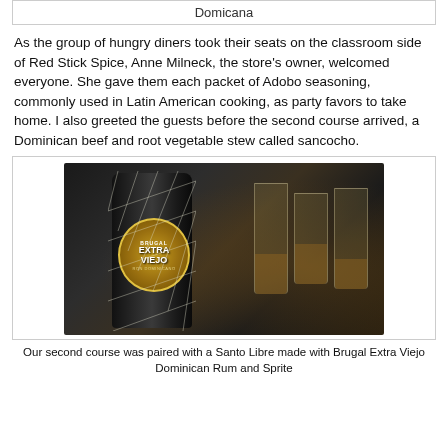Domicana
As the group of hungry diners took their seats on the classroom side of Red Stick Spice, Anne Milneck, the store's owner, welcomed everyone. She gave them each packet of Adobo seasoning, commonly used in Latin American cooking, as party favors to take home. I also greeted the guests before the second course arrived, a Dominican beef and root vegetable stew called sancocho.
[Figure (photo): A bottle of Brugal Extra Viejo Dominican Rum with a net covering, placed next to glasses, photographed in a dark setting.]
Our second course was paired with a Santo Libre made with Brugal Extra Viejo Dominican Rum and Sprite